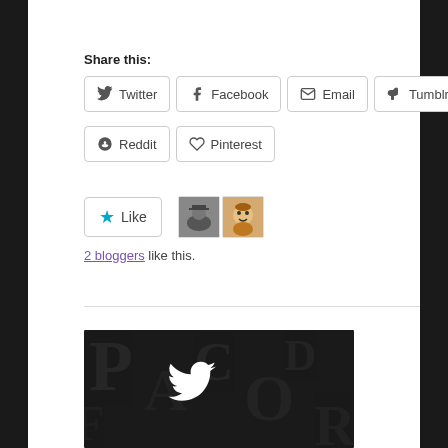Share this:
Twitter | Facebook | Email | Tumblr | Reddit | Pinterest
Like  2 bloggers like this.
[Figure (photo): Dark background image with embossed letter shapes and a white Twitter bird logo in the center]